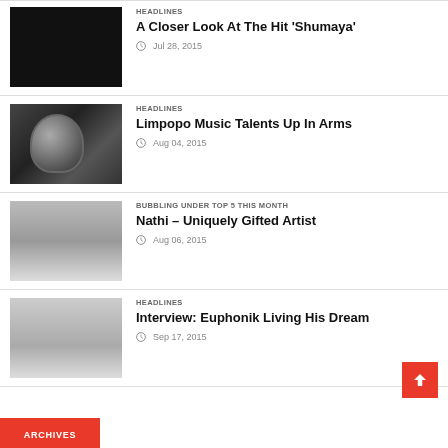[Figure (photo): Black thumbnail image for article about Shumaya]
HEADLINES
A Closer Look At The Hit ‘Shumaya’
Jul 28, 2015
[Figure (photo): Close-up photo of a microphone]
HEADLINES
Limpopo Music Talents Up In Arms
Aug 04, 2015
[Figure (photo): Black and white photo of Nathi artist]
BUBBLING UNDER  TOP 5 THIS MONTH
Nathi – Uniquely Gifted Artist
Aug 06, 2015
[Figure (photo): Photo of Euphonik in red jacket]
HEADLINES
Interview: Euphonik Living His Dream
Sep 17, 2015
ARCHIVES